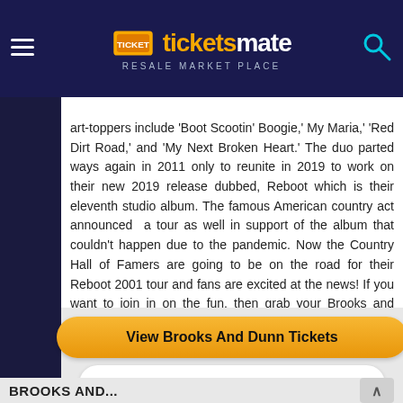ticketsmate RESALE MARKET PLACE
art-toppers include ‘Boot Scootin’ Boogie,’ My Maria,’ ‘Red Dirt Road,’ and ‘My Next Broken Heart.’ The duo parted ways again in 2011 only to reunite in 2019 to work on their new 2019 release dubbed, Reboot which is their eleventh studio album. The famous American country act announced a tour as well in support of the album that couldn’t happen due to the pandemic. Now the Country Hall of Famers are going to be on the road for their Reboot 2001 tour and fans are excited at the news! If you want to join in on the fun, then grab your Brooks and Dunn tickets at the earliest and rush to the arenas soon! The dynamic entertainers have added more dates to their 2021 tour so there is plenty of music coming ahead.
View Brooks And Dunn Tickets
View all Tickets
BROOKS AND...